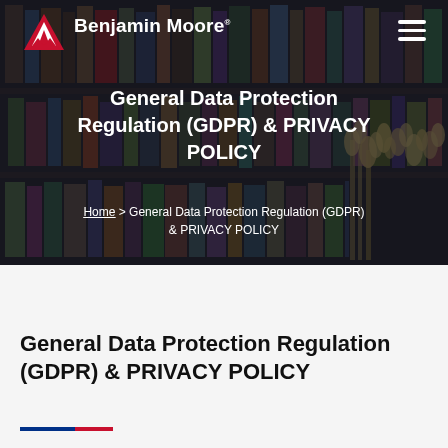[Figure (photo): Benjamin Moore logo with red mountain triangle icon and white bold text on dark bookshelf background hero banner with hamburger menu icon in top right]
General Data Protection Regulation (GDPR) & PRIVACY POLICY
Home > General Data Protection Regulation (GDPR) & PRIVACY POLICY
General Data Protection Regulation (GDPR) & PRIVACY POLICY